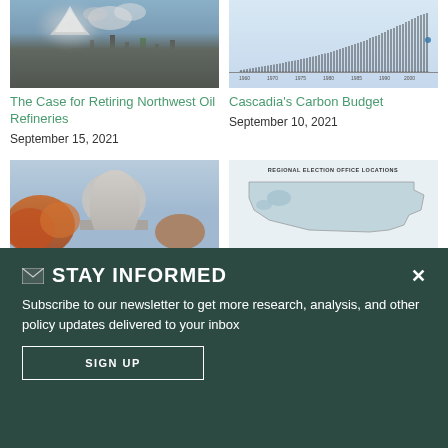[Figure (photo): Industrial oil refinery with smokestacks emitting smoke against a mountainous background with water in foreground]
[Figure (line-chart): Carbon budget chart showing rising trend line over time from approximately 1960 to 2010]
The Case for Retiring Northwest Oil Refineries
Cascadia's Carbon Budget
September 15, 2021
September 10, 2021
[Figure (photo): State capitol building dome with autumn red/orange trees in foreground against blue sky]
[Figure (map): Regional Election Office Locations map]
STAY INFORMED
Subscribe to our newsletter to get more research, analysis, and other policy updates delivered to your inbox
SIGN UP